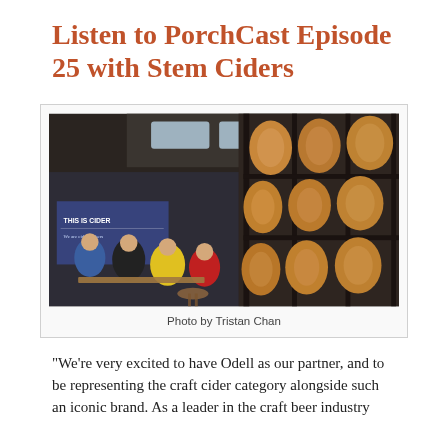Listen to PorchCast Episode 25 with Stem Ciders
[Figure (photo): Interior of Stem Ciders taproom with wooden barrels stacked on metal racks along the right wall, a 'This is Cider' banner on the left wall, and people sitting at tables in the foreground.]
Photo by Tristan Chan
“We’re very excited to have Odell as our partner, and to be representing the craft cider category alongside such an iconic brand. As a leader in the craft beer industry